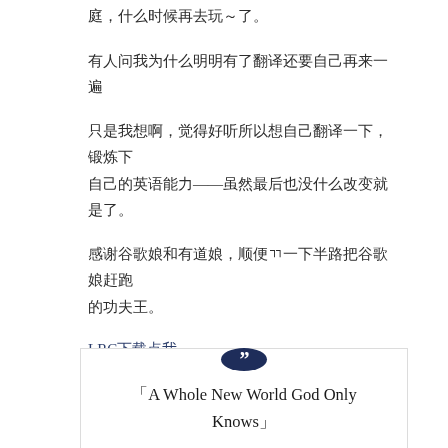庭，什么时候再去玩～了。
有人问我为什么明明有了翻译还要自己再来一遍
只是我想啊，觉得好听所以想自己翻译一下，锻炼下自己的英语能力——虽然最后也没什么改变就是了。
感谢谷歌娘和有道娘，顺便ㄲ一下半路把谷歌娘赶跑的功夫王。
LRC下载点我
2012年11月9日第 一 稿
「A Whole New World God Only Knows」